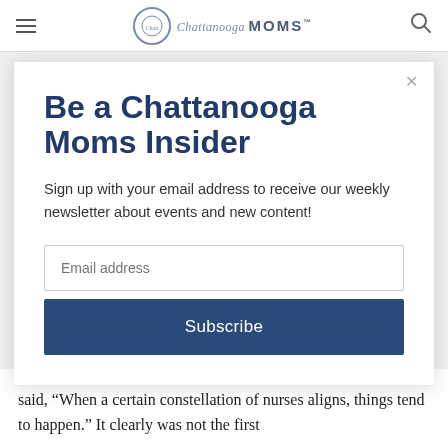Chattanooga MOMS
Be a Chattanooga Moms Insider
Sign up with your email address to receive our weekly newsletter about events and new content!
said, “When a certain constellation of nurses aligns, things tend to happen.” It clearly was not the first